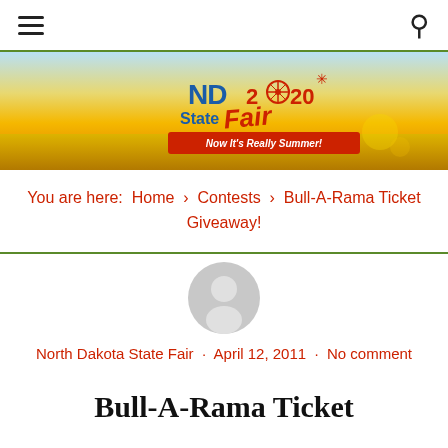Navigation bar with hamburger menu and search icon
[Figure (logo): ND State Fair 2020 logo with Ferris wheel, 'Now It's Really Summer!' tagline on summer banner background]
You are here: Home › Contests › Bull-A-Rama Ticket Giveaway!
[Figure (illustration): Generic user avatar icon (grey silhouette of person)]
North Dakota State Fair · April 12, 2011 · No comment
Bull-A-Rama Ticket